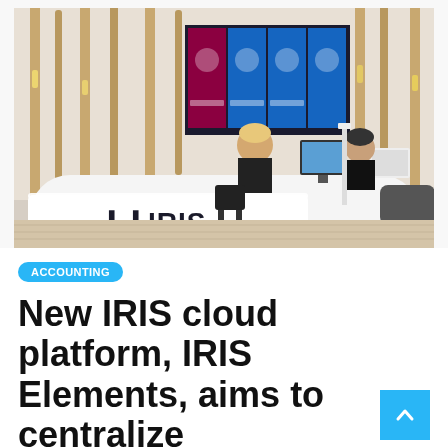[Figure (photo): Office reception area with IRIS branding on a curved white desk. Two employees working at computers. Behind the desk is a colorful display panel with icons. Decorative wooden vertical panels line the walls.]
ACCOUNTING
New IRIS cloud platform, IRIS Elements, aims to centralize